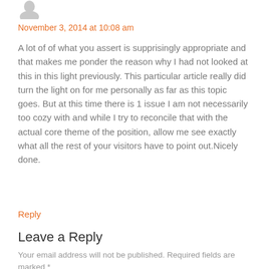[Figure (illustration): Small grey avatar/person silhouette icon in the top-left corner]
November 3, 2014 at 10:08 am
A lot of of what you assert is supprisingly appropriate and that makes me ponder the reason why I had not looked at this in this light previously. This particular article really did turn the light on for me personally as far as this topic goes. But at this time there is 1 issue I am not necessarily too cozy with and while I try to reconcile that with the actual core theme of the position, allow me see exactly what all the rest of your visitors have to point out.Nicely done.
Reply
Leave a Reply
Your email address will not be published. Required fields are marked *
Comment *